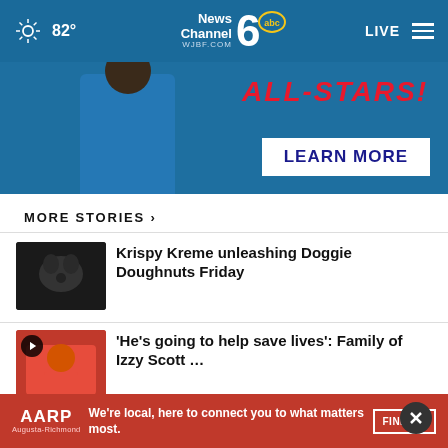82° NewsChannel 6 abc WJBF.COM LIVE
[Figure (screenshot): Advertisement banner with person and ALL-STARS text with LEARN MORE button]
MORE STORIES ›
[Figure (photo): Black dog thumbnail]
Krispy Kreme unleashing Doggie Doughnuts Friday
[Figure (photo): Young child in red shirt thumbnail with play icon]
'He's going to help save lives': Family of Izzy Scott …
[Figure (photo): Graduation silhouette thumbnail]
Student loan payment pause
[Figure (screenshot): AARP Augusta-Richmond advertisement banner with FIND US button]
Grovetown honors boys basketball